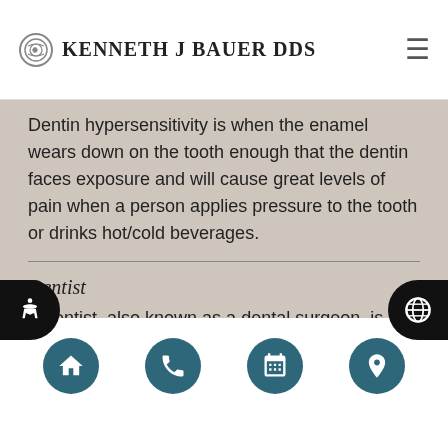Kenneth J Bauer DDS
Dentin hypersensitivity is when the enamel wears down on the tooth enough that the dentin faces exposure and will cause great levels of pain when a person applies pressure to the tooth or drinks hot/cold beverages.
Dentist
A dentist, also known as a dental surgeon, is a doctor who specializes in the diagnosis, prevention, and treatment of diseases and conditions of the oral cavity.
Home | Phone | Calendar | Location